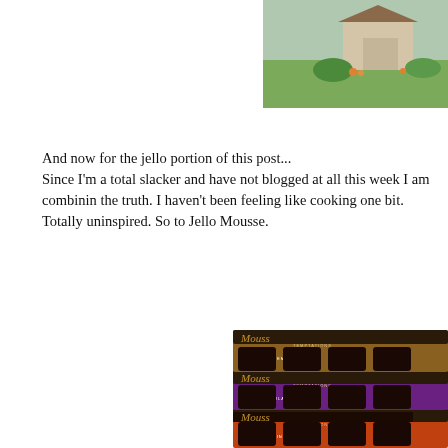[Figure (photo): Partial photo of a house exterior with green lawn, cropped at top-right corner of the page]
And now for the jello portion of this post...
Since I'm a total slacker and have not blogged at all this week I am combinin the truth. I haven't been feeling like cooking one bit. Totally uninspired. So to Jello Mousse.
[Figure (photo): Three stacked packages of Jello Mousse Temptations pudding cups — caramel creme (gold), dark chocolate decadence (purple), and chocolate indulgence (red/orange) — cropped at the right side of the page]